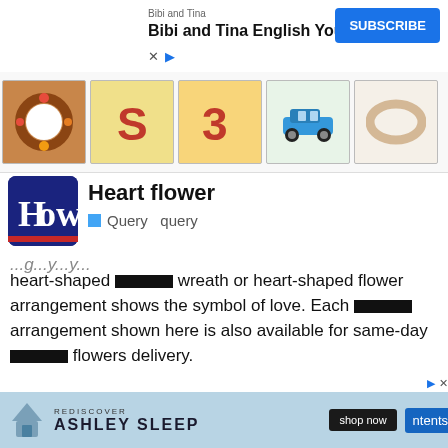[Figure (screenshot): Bibi and Tina YouTube ad banner with Subscribe button]
[Figure (screenshot): Thumbnail strip showing flower wreaths, number decorations, toy cars, and a wooden ring]
Heart flower
Query  query
heart-shaped ███████ wreath or heart-shaped flower arrangement shows the symbol of love. Each ███████ arrangement shown here is also available for same-day ███████ flowers delivery.
[Figure (screenshot): Partial ad with geometric icons visible]
[Figure (screenshot): $46 Security Camera Makes Doorbell Cams Seem Ancient - TrendingTech Sponsored ad with outdoor lamp photo]
[Figure (screenshot): Ashley Sleep REDISCOVER ASHLEY SLEEP advertisement banner with shop now button]